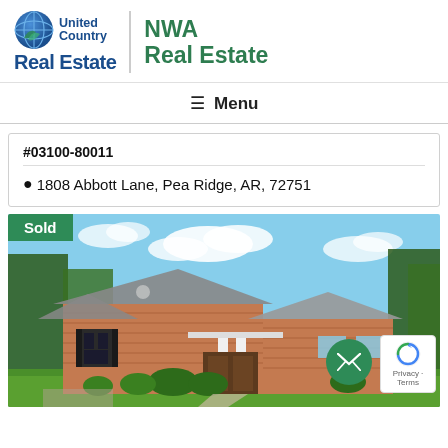[Figure (logo): United Country Real Estate | NWA Real Estate logo with globe icon]
≡ Menu
#03100-80011
📍 1808 Abbott Lane, Pea Ridge, AR, 72751
[Figure (photo): Sold property photo of a brick ranch house with green lawn, blue sky, and trees. Green 'Sold' banner overlay at top left, email contact button and reCAPTCHA badge at bottom right.]